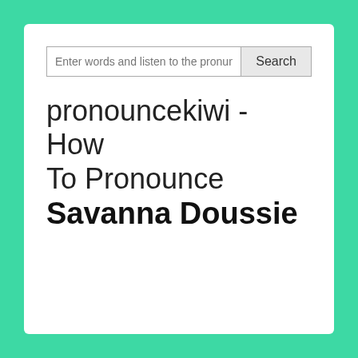[Figure (screenshot): Search input box with placeholder text 'Enter words and listen to the pronun' and a Search button]
pronouncekiwi - How To Pronounce Savanna Doussie